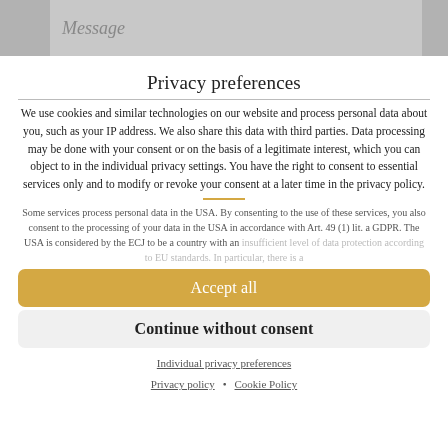Message
Privacy preferences
We use cookies and similar technologies on our website and process personal data about you, such as your IP address. We also share this data with third parties. Data processing may be done with your consent or on the basis of a legitimate interest, which you can object to in the individual privacy settings. You have the right to consent to essential services only and to modify or revoke your consent at a later time in the privacy policy.
Some services process personal data in the USA. By consenting to the use of these services, you also consent to the processing of your data in the USA in accordance with Art. 49 (1) lit. a GDPR. The USA is considered by the ECJ to be a country with an insufficient level of data protection according to EU standards. In particular, there is a risk that your data may be processed by US authorities for control and monitoring purposes without any possibility of legal recourse.
Accept all
Continue without consent
Individual privacy preferences
Privacy policy  •  Cookie Policy